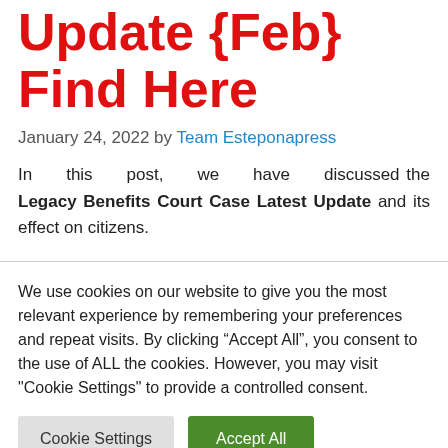Update {Feb} Find Here
January 24, 2022 by Team Esteponapress
In this post, we have discussed the Legacy Benefits Court Case Latest Update and its effect on citizens.
We use cookies on our website to give you the most relevant experience by remembering your preferences and repeat visits. By clicking “Accept All”, you consent to the use of ALL the cookies. However, you may visit "Cookie Settings" to provide a controlled consent.